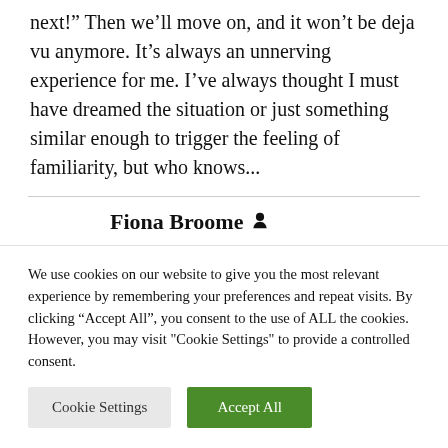next!" Then we'll move on, and it won't be deja vu anymore. It's always an unnerving experience for me. I've always thought I must have dreamed the situation or just something similar enough to trigger the feeling of familiarity, but who knows...
Fiona Broome
We use cookies on our website to give you the most relevant experience by remembering your preferences and repeat visits. By clicking "Accept All", you consent to the use of ALL the cookies. However, you may visit "Cookie Settings" to provide a controlled consent.